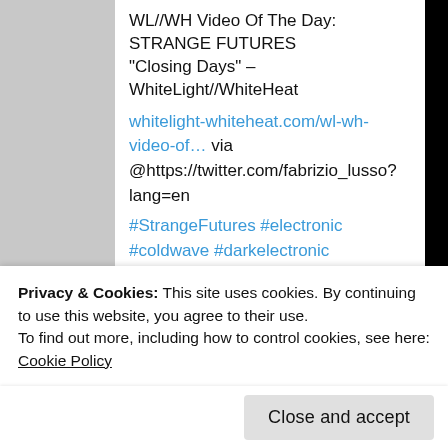WL//WH Video Of The Day: STRANGE FUTURES "Closing Days" – WhiteLight//WhiteHeat
whitelight-whiteheat.com/wl-wh-video-of… via @https://twitter.com/fabrizio_lusso?lang=en
#StrangeFutures #electronic #coldwave #darkelectronic #darkwave #goth #italo #minimalsynth #synthpop #synthwave #Bristol #UK
Privacy & Cookies: This site uses cookies. By continuing to use this website, you agree to their use.
To find out more, including how to control cookies, see here: Cookie Policy
Close and accept
whitelight-whiteheat.com